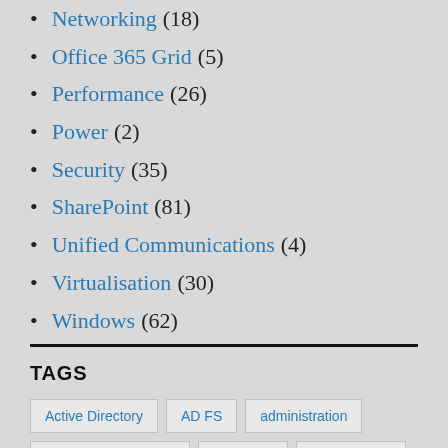Networking (18)
Office 365 Grid (5)
Performance (26)
Power (2)
Security (35)
SharePoint (81)
Unified Communications (4)
Virtualisation (30)
Windows (62)
TAGS
Active Directory, AD FS, administration